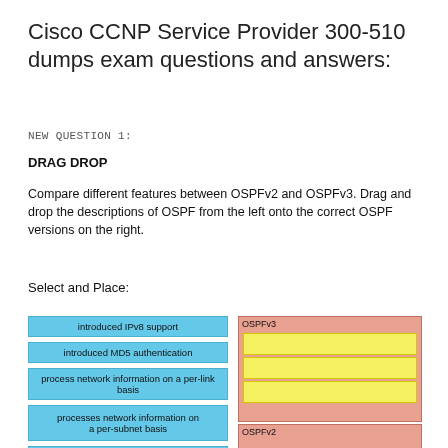Cisco CCNP Service Provider 300-510 dumps exam questions and answers:
NEW QUESTION 1:
DRAG DROP
Compare different features between OSPFv2 and OSPFv3. Drag and drop the descriptions of OSPF from the left onto the correct OSPF versions on the right.
Select and Place:
[Figure (infographic): Drag and drop diagram showing left panel with blue boxes labeled: 'introduced IPv8 support', 'introduced MD5 authentication', 'process network information on a per-link basis', 'processes network information on a per-subnet basis', 'uses a locally-significant instance ID'. Right panel shows OSPFv3 container (salmon/pink border) with three empty yellow slots, and OSPFv2 container below with one visible yellow slot.]